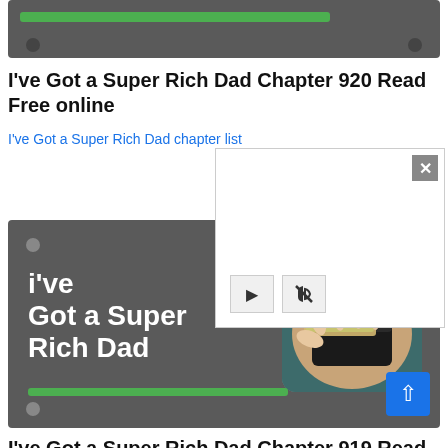[Figure (screenshot): Dark grey card with a green progress bar and two circular dots, partially visible at top]
I've Got a Super Rich Dad Chapter 920 Read Free online
I've Got a Super Rich Dad chapter list
[Figure (screenshot): Video player overlay popup with white background, X close button, play and mute control buttons]
[Figure (illustration): Dark grey book card with text 'i've Got a Super Rich Dad' in white bold font, wallet/money photo thumbnail on right, green progress bar at bottom]
I've Got a Super Rich Dad Chapter 919 Read